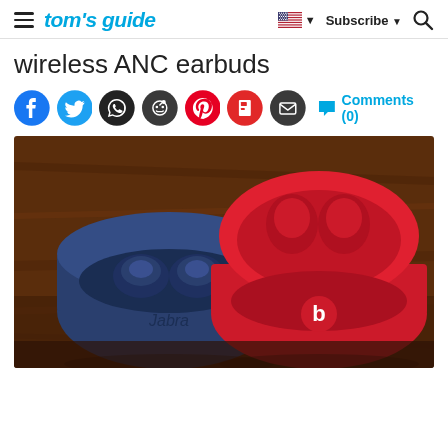tom's guide — Subscribe
wireless ANC earbuds
Social share icons and Comments (0)
[Figure (photo): A blue Jabra wireless earbud case (open, with earbuds inside) next to a red Beats wireless earbud case (open, with earbuds inside), both resting on a wooden surface.]